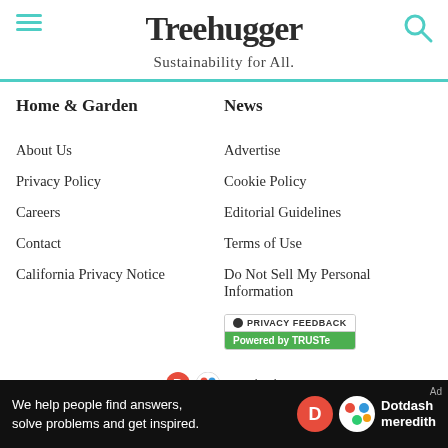Treehugger — Sustainability for All.
Home & Garden
News
About Us
Advertise
Privacy Policy
Cookie Policy
Careers
Editorial Guidelines
Contact
Terms of Use
California Privacy Notice
Do Not Sell My Personal Information
[Figure (logo): TRUSTe Privacy Feedback widget with green Powered by TRUSTe bar]
[Figure (logo): Dotdash Meredith advertisement banner at bottom of page]